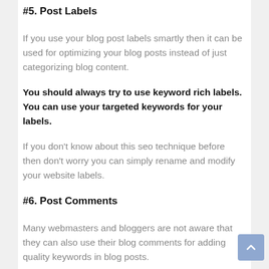#5. Post Labels
If you use your blog post labels smartly then it can be used for optimizing your blog posts instead of just categorizing blog content.
You should always try to use keyword rich labels. You can use your targeted keywords for your labels.
If you don't know about this seo technique before then don't worry you can simply rename and modify your website labels.
#6. Post Comments
Many webmasters and bloggers are not aware that they can also use their blog comments for adding quality keywords in blog posts.
Yeah ! Absolutely. Blog Comments play an important role